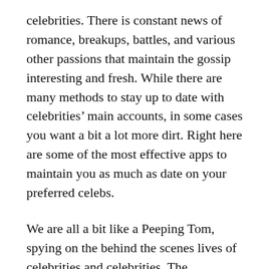celebrities. There is constant news of romance, breakups, battles, and various other passions that maintain the gossip interesting and fresh. While there are many methods to stay up to date with celebrities' main accounts, in some cases you want a bit a lot more dirt. Right here are some of the most effective apps to maintain you as much as date on your preferred celebs.
We are all a bit like a Peeping Tom, spying on the behind the scenes lives of celebrities and celebrities. The difference is that our eavesdropping and peeking is refrained through the keyholes yet through the popular media that these celebrities and celebrities are a part of. We all enjoy a little bit of gossip; many make a living out